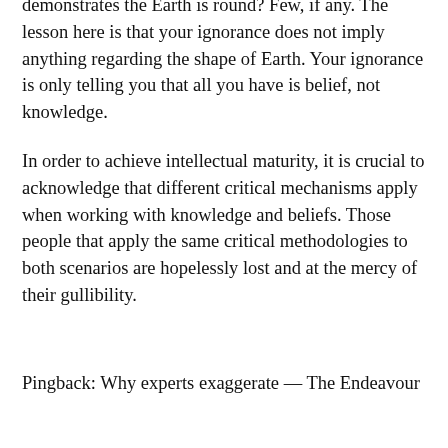demonstrates the Earth is round? Few, if any. The lesson here is that your ignorance does not imply anything regarding the shape of Earth. Your ignorance is only telling you that all you have is belief, not knowledge.
In order to achieve intellectual maturity, it is crucial to acknowledge that different critical mechanisms apply when working with knowledge and beliefs. Those people that apply the same critical methodologies to both scenarios are hopelessly lost and at the mercy of their gullibility.
Pingback: Why experts exaggerate — The Endeavour